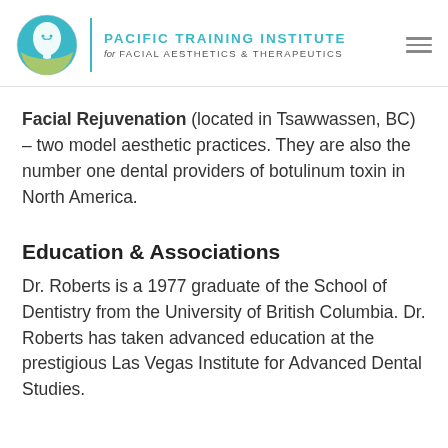PACIFIC TRAINING INSTITUTE for FACIAL AESTHETICS & THERAPEUTICS
Facial Rejuvenation (located in Tsawwassen, BC) – two model aesthetic practices. They are also the number one dental providers of botulinum toxin in North America.
Education & Associations
Dr. Roberts is a 1977 graduate of the School of Dentistry from the University of British Columbia. Dr. Roberts has taken advanced education at the prestigious Las Vegas Institute for Advanced Dental Studies.